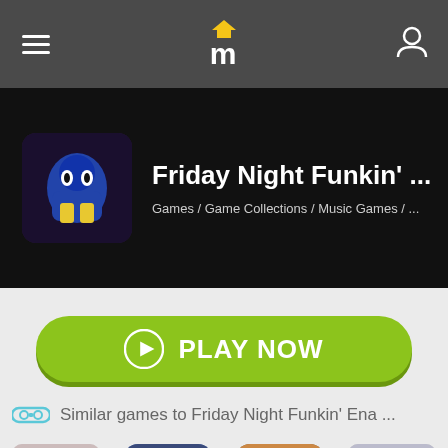Maky.cc navigation bar with hamburger menu, logo, and user icon
[Figure (screenshot): Friday Night Funkin' Ena game banner with character artwork on black background]
Friday Night Funkin' ...
Games / Game Collections / Music Games / ...
PLAY NOW
Similar games to Friday Night Funkin' Ena ...
Friday Night F...  Friday Night F...  Friday Night F...  Friday Night F...